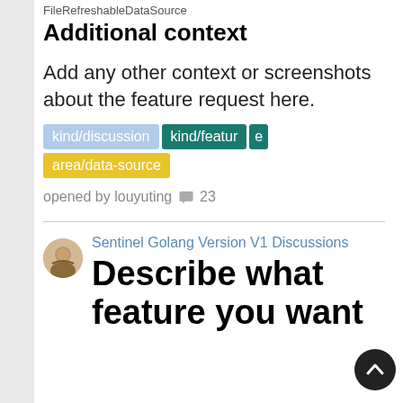FileRefreshableDataSource
Additional context
Add any other context or screenshots about the feature request here.
kind/discussion  kind/feature  e  area/data-source
opened by louyuting 💬 23
Sentinel Golang Version V1 Discussions
Describe what feature you want